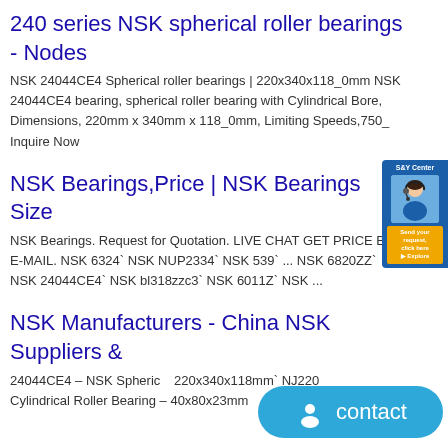240 series NSK spherical roller bearings - Nodes
NSK 24044CE4 Spherical roller bearings | 220x340x118_0mm NSK 24044CE4 bearing, spherical roller bearing with Cylindrical Bore, Dimensions, 220mm x 340mm x 118_0mm, Limiting Speeds,750_ Inquire Now
NSK Bearings,Price | NSK Bearings Size
NSK Bearings. Request for Quotation. LIVE CHAT GET PRICE BY E-MAIL. NSK 6324` NSK NUP2334` NSK 539` ... NSK 6820ZZ` NSK 24044CE4` NSK bl318zzc3` NSK 6011Z` NSK ...
NSK Manufacturers - China NSK Suppliers &
24044CE4 – NSK Spherical 220x340x118mm` NJ220 Cylindrical Roller Bearing – 40x80x23mm